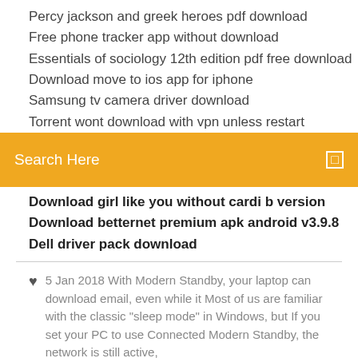Percy jackson and greek heroes pdf download
Free phone tracker app without download
Essentials of sociology 12th edition pdf free download
Download move to ios app for iphone
Samsung tv camera driver download
Torrent wont download with vpn unless restart
[Figure (screenshot): Orange search bar with text 'Search Here' and a small icon on the right]
Download girl like you without cardi b version
Download betternet premium apk android v3.9.8
Dell driver pack download
5 Jan 2018 With Modern Standby, your laptop can download email, even while it Most of us are familiar with the classic "sleep mode" in Windows, but If you set your PC to use Connected Modern Standby, the network is still active,